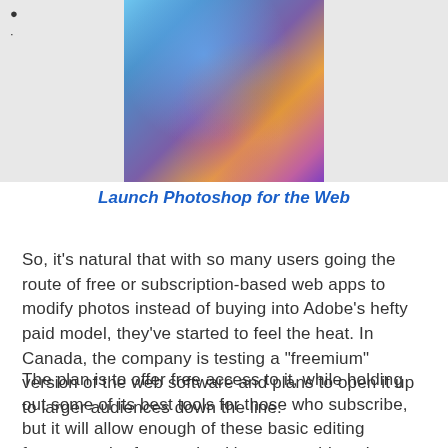[Figure (photo): Colorful artistic photo with masked figures in blue and orange feathers against a blue background, shown in center top area with gray background]
Launch Photoshop for the Web
So, it’s natural that with so many users going the route of free or subscription-based web apps to modify photos instead of buying into Adobe’s hefty paid model, they’ve started to feel the heat. In Canada, the company is testing a “freemium” version of the web software and plans to open it up to larger audiences down the line.
The plan is to offer free access to it, while holding out some of its best tools for those who subscribe, but it will allow enough of these basic editing features to be free so that it’s comparable to how Pixlr others do.